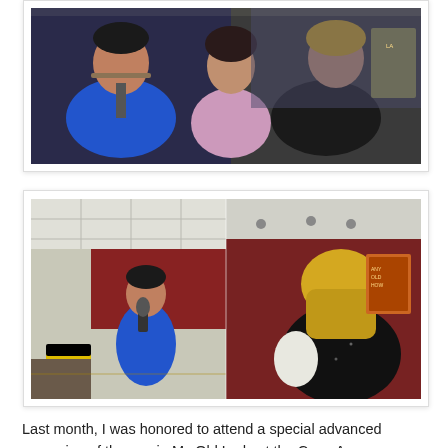[Figure (photo): Indoor scene showing three people — a man in a blue blazer and tie looking up, a woman in a light pink top, and a woman in a black top, at what appears to be a venue or event.]
[Figure (photo): Split indoor scene: left side shows a room with a yellow chair and a man in a blue shirt holding a microphone; right side shows a blonde woman in a black sparkly top holding something white, standing in what appears to be a cinema or similar venue with red walls.]
Last month, I was honored to attend a special advanced screening of the movie My Old Lady at the Cape Ann Community Cinema in Gloucester. The movie was written